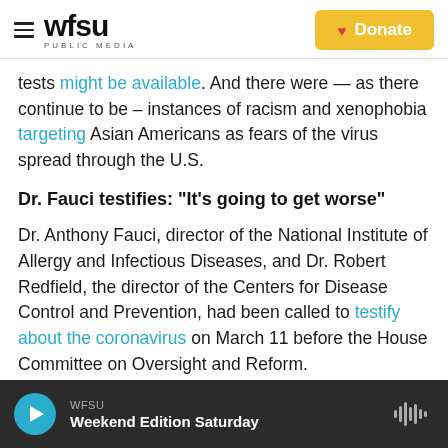WFSU PUBLIC MEDIA | Donate
tests might be available. And there were — as there continue to be – instances of racism and xenophobia targeting Asian Americans as fears of the virus spread through the U.S.
Dr. Fauci testifies: "It's going to get worse"
Dr. Anthony Fauci, director of the National Institute of Allergy and Infectious Diseases, and Dr. Robert Redfield, the director of the Centers for Disease Control and Prevention, had been called to testify about the coronavirus on March 11 before the House Committee on Oversight and Reform.
WFSU Weekend Edition Saturday